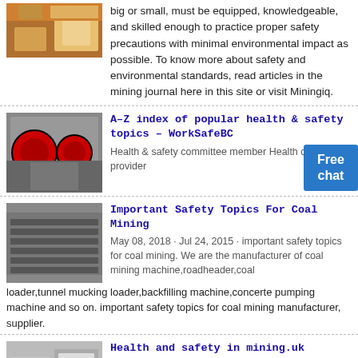[Figure (photo): Mining equipment photo at top left]
big or small, must be equipped, knowledgeable, and skilled enough to practice proper safety precautions with minimal environmental impact as possible. To know more about safety and environmental standards, read articles in the mining journal here in this site or visit Miningiq.
[Figure (photo): Industrial crusher machine with red wheels]
A–Z index of popular health & safety topics – WorkSafeBC
Health & safety committee member Health care provider
[Figure (photo): Coal mining rail cars/conveyor]
Important Safety Topics For Coal Mining
May 08, 2018 · Jul 24, 2015 · important safety topics for coal mining. We are the manufacturer of coal mining machine,roadheader,coal loader,tunnel mucking loader,backfilling machine,concerte pumping machine and so on. important safety topics for coal mining manufacturer, supplier.
[Figure (photo): Mining factory interior with blue machinery]
Health and safety in mining.uk
HSE's plan of work for the mining industry targets the key priorities identified in the Revitalising Health and Safety Strategy and